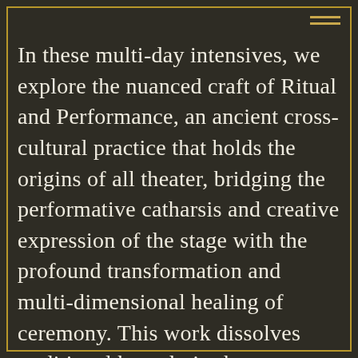In these multi-day intensives, we explore the nuanced craft of Ritual and Performance, an ancient cross-cultural practice that holds the origins of all theater, bridging the performative catharsis and creative expression of the stage with the profound transformation and multi-dimensional healing of ceremony. This work dissolves traditional boundaries between audience and performer, between art, activism and prayer.